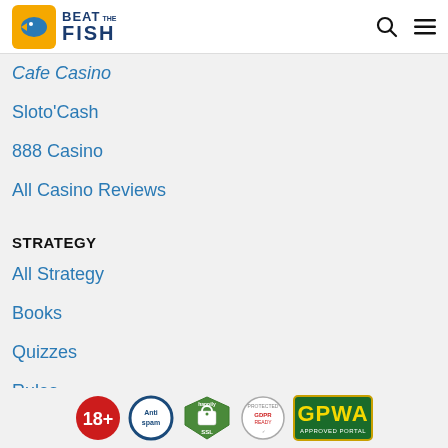Beat The Fish
Cafe Casino
Sloto'Cash
888 Casino
All Casino Reviews
STRATEGY
All Strategy
Books
Quizzes
Rules
Glossary
[Figure (logo): Trust and certification badges: 18+, Anti spam, Happily SSL, GDPR Ready, GPWA Approved Portal]